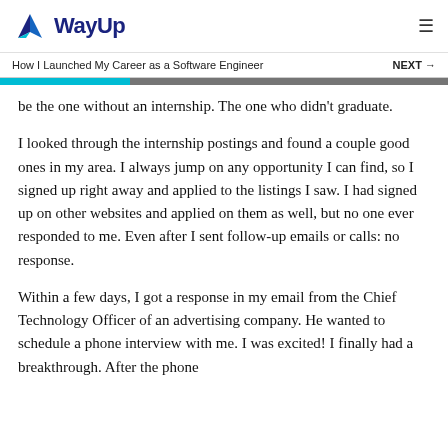WayUp
How I Launched My Career as a Software Engineer
NEXT →
be the one without an internship. The one who didn't graduate.
I looked through the internship postings and found a couple good ones in my area. I always jump on any opportunity I can find, so I signed up right away and applied to the listings I saw. I had signed up on other websites and applied on them as well, but no one ever responded to me. Even after I sent follow-up emails or calls: no response.
Within a few days, I got a response in my email from the Chief Technology Officer of an advertising company. He wanted to schedule a phone interview with me. I was excited! I finally had a breakthrough. After the phone interview, ...